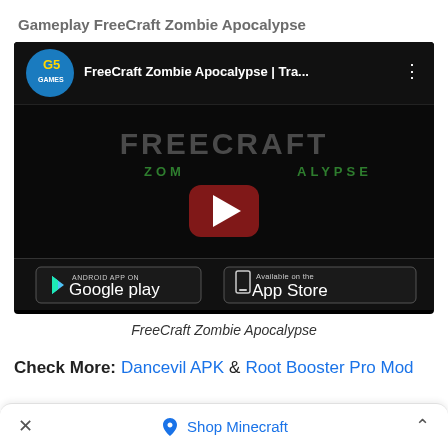Gameplay FreeCraft Zombie Apocalypse
[Figure (screenshot): YouTube video thumbnail for FreeCraft Zombie Apocalypse showing the game title in dark background with a YouTube play button in the center, and Google Play and App Store download buttons at the bottom.]
FreeCraft Zombie Apocalypse
Check More: Dancevil APK & Root Booster Pro Mod
Shop Minecraft